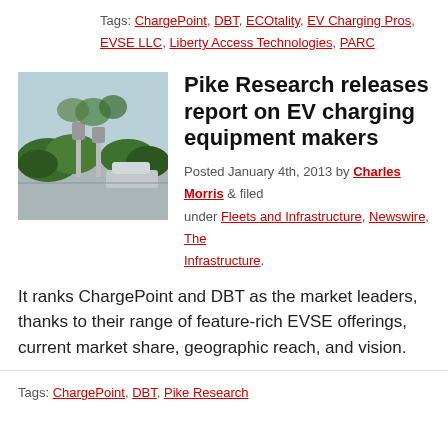Tags: ChargePoint, DBT, ECOtality, EV Charging Pros, EVSE LLC, Liberty Access Technologies, PARC
[Figure (photo): Outdoor scene with electric vehicle charging stations and greenery/shrubs in a parking area]
Pike Research releases report on EV charging equipment makers
Posted January 4th, 2013 by Charles Morris & filed under Fleets and Infrastructure, Newswire, The Infrastructure.
It ranks ChargePoint and DBT as the market leaders, thanks to their range of feature-rich EVSE offerings, current market share, geographic reach, and vision.
Tags: ChargePoint, DBT, Pike Research